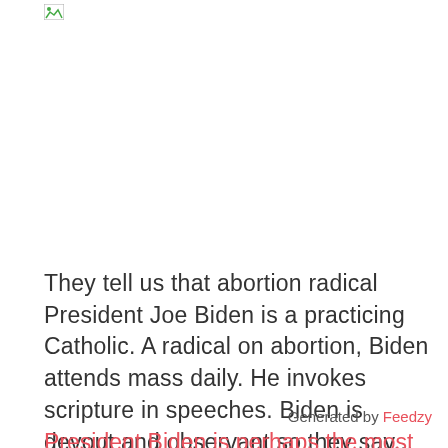[Figure (other): Small broken/placeholder image icon in top-left area]
They tell us that abortion radical President Joe Biden is a practicing Catholic. A radical on abortion, Biden attends mass daily. He invokes scripture in speeches. Biden is devout and observant so they say...
Generated by Feedzy
President Biden is perhaps the most